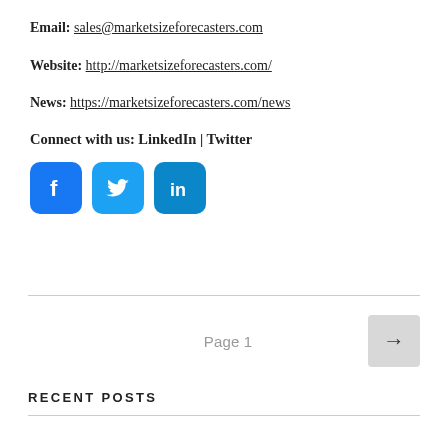Email: sales@marketsizeforecasters.com
Website: http://marketsizeforecasters.com/
News: https://marketsizeforecasters.com/news
Connect with us: LinkedIn | Twitter
[Figure (other): Social media icons: Facebook (blue), Twitter (light blue), LinkedIn (dark blue)]
Page 1
RECENT POSTS